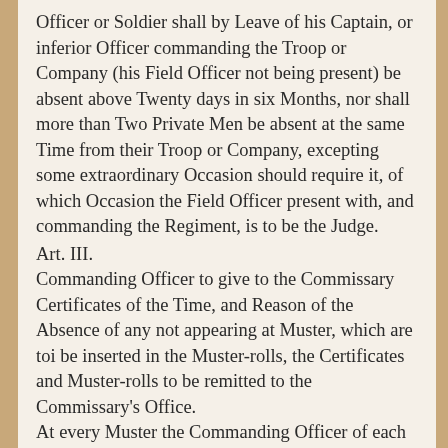Officer or Soldier shall by Leave of his Captain, or inferior Officer commanding the Troop or Company (his Field Officer not being present) be absent above Twenty days in six Months, nor shall more than Two Private Men be absent at the same Time from their Troop or Company, excepting some extraordinary Occasion should require it, of which Occasion the Field Officer present with, and commanding the Regiment, is to be the Judge.
Art. III.
Commanding Officer to give to the Commissary Certificates of the Time, and Reason of the Absence of any not appearing at Muster, which are toi be inserted in the Muster-rolls, the Certificates and Muster-rolls to be remitted to the Commissary's Office.
At every Muster the Commanding Officer of each Regiment, Troop, or Company there present, shall give to the Commissary Certificates sign'd by himself